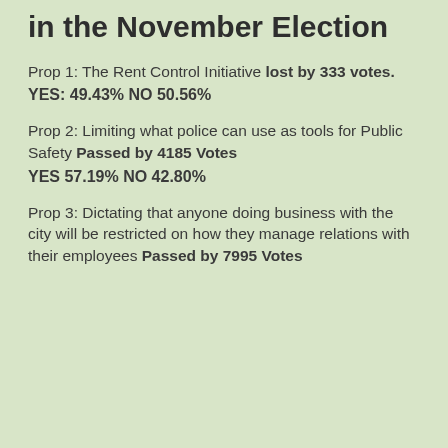in the November Election
Prop 1: The Rent Control Initiative lost by 333 votes.
YES: 49.43% NO 50.56%
Prop 2: Limiting what police can use as tools for Public Safety Passed by 4185 Votes
YES 57.19% NO 42.80%
Prop 3: Dictating that anyone doing business with the city will be restricted on how they manage relations with their employees Passed by 7995 Votes